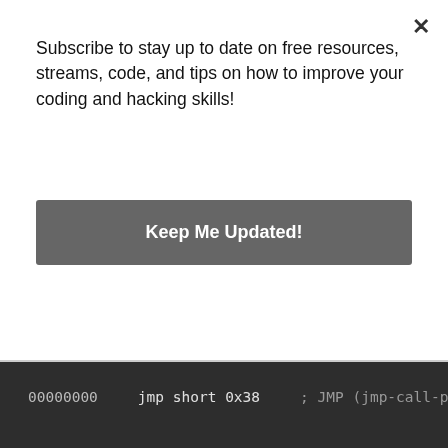Subscribe to stay up to date on free resources, streams, code, and tips on how to improve your coding and hacking skills!
Keep Me Updated!
method is executed, it places the address of the instruction directly after the call instruction onto the stack. Then, when whatever method that was called returns, the address of that instruction will be popped into EIP, and code execution will continue where it left off. In our case, instead of waiting until we return from the call, we pop as soon as we call in order to store the address of our target data into a register for immediate use. Let’s take a look at it:
00000000    jmp short 0x38    ; JMP (jmp-call-pop)